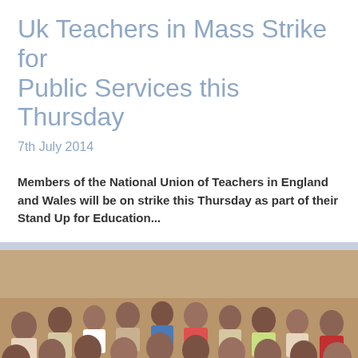Uk Teachers in Mass Strike for Public Services this Thursday
7th July 2014
Members of the National Union of Teachers in England and Wales will be on strike this Thursday as part of their Stand Up for Education...
[Figure (photo): A group of children, mostly boys, sitting on the ground in a crowded setting, appearing to be in a classroom or outdoor educational setting in South Asia.]